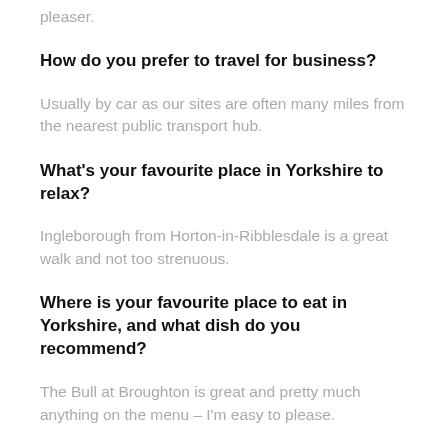pleaser.
How do you prefer to travel for business?
Usually by car as our sites are often many miles from the nearest public transport hub.
What's your favourite place in Yorkshire to relax?
Ingleborough from Horton-in-Ribblesdale is a great walk and not too strenuous.
Where is your favourite place to eat in Yorkshire, and what dish do you recommend?
The Bull at Broughton is great and pretty much anything on the menu – I'm easy to please.